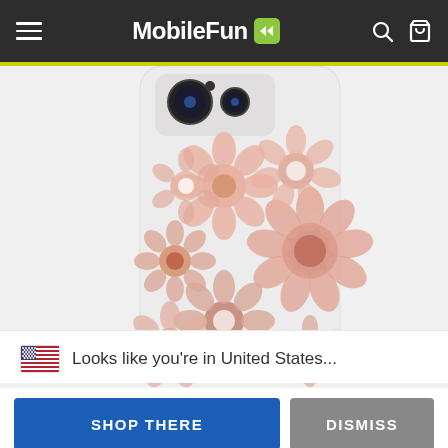MobileFun
[Figure (photo): Coach branded phone case with rose gold and pink glitter floral pattern on a clear/white background, showing rear camera cutout at top]
🇺🇸  Looks like you're in United States...
SHOP THERE
DISMISS